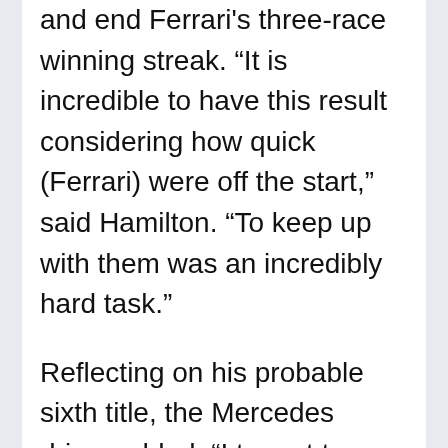and end Ferrari's three-race winning streak. “It is incredible to have this result considering how quick (Ferrari) were off the start,” said Hamilton. “To keep up with them was an incredibly hard task.”
Reflecting on his probable sixth title, the Mercedes driver added: “I try not to think about the championship and take it one race at a time. We don’t want to